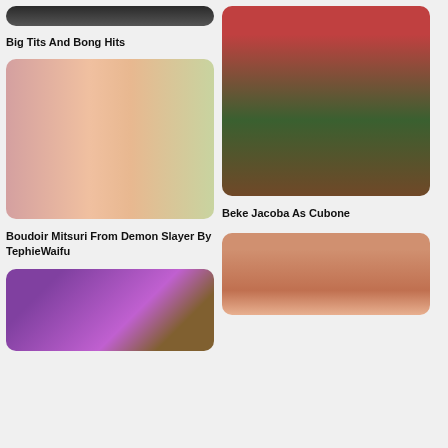[Figure (photo): Partial cropped photo at top left, dark tones]
Big Tits And Bong Hits
[Figure (photo): Boudoir Mitsuri cosplay from Demon Slayer by TephieWaifu, two-panel collage with pink hair and tattoos]
Boudoir Mitsuri From Demon Slayer By TephieWaifu
[Figure (photo): Cosplay photo of Beke Jacoba as Cubone from Pokemon, outdoor tropical setting]
Beke Jacoba As Cubone
[Figure (photo): Person in anime cosplay with brown hair, face markings, indoor gaming setup background]
[Figure (photo): Blonde person with cat ears cosplay, close-up portrait with bokeh lights]